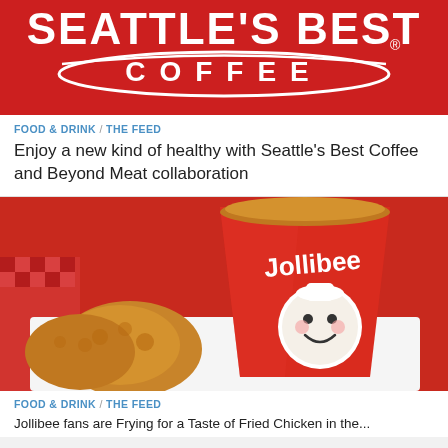[Figure (logo): Seattle's Best Coffee logo — white text and circular emblem on red background]
FOOD & DRINK / THE FEED
Enjoy a new kind of healthy with Seattle's Best Coffee and Beyond Meat collaboration
[Figure (photo): Jollibee branded red bucket filled with fried chicken, with pieces of fried chicken in the foreground on a white tray, red checkered background]
FOOD & DRINK / THE FEED
Jollibee fans are Frying for a Taste of Fried Chicken in the...